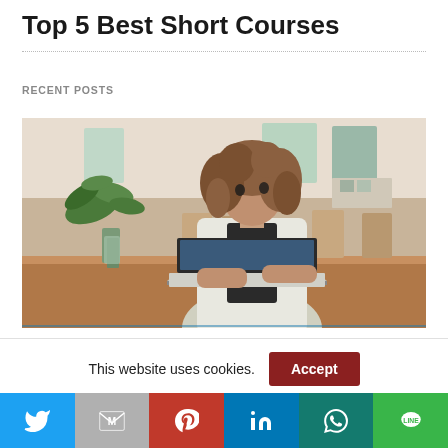Top 5 Best Short Courses
RECENT POSTS
[Figure (photo): Woman with curly hair sitting at a wooden table in a cafe/restaurant setting, working on a laptop. Indoor plants visible on the left, wooden chairs and tables in the background.]
This website uses cookies.
[Figure (infographic): Social sharing bar with icons: Twitter (blue), Gmail (gray), Pinterest (red), LinkedIn (blue), WhatsApp (teal), Line (green)]